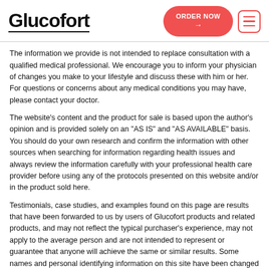Glucofort | ORDER NOW →
The information we provide is not intended to replace consultation with a qualified medical professional. We encourage you to inform your physician of changes you make to your lifestyle and discuss these with him or her. For questions or concerns about any medical conditions you may have, please contact your doctor.
The website's content and the product for sale is based upon the author's opinion and is provided solely on an "AS IS" and "AS AVAILABLE" basis. You should do your own research and confirm the information with other sources when searching for information regarding health issues and always review the information carefully with your professional health care provider before using any of the protocols presented on this website and/or in the product sold here.
Testimonials, case studies, and examples found on this page are results that have been forwarded to us by users of Glucofort products and related products, and may not reflect the typical purchaser's experience, may not apply to the average person and are not intended to represent or guarantee that anyone will achieve the same or similar results. Some names and personal identifying information on this site have been changed to protect the privacy of individuals.